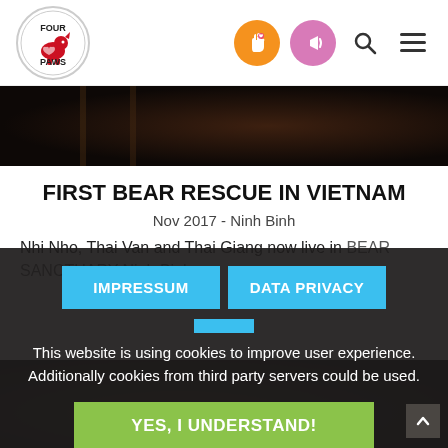[Figure (logo): Four Paws organization logo — red bear/cat figure with heart, circular border, text FOUR PAWS]
[Figure (infographic): Navigation icons: orange circle with hand/heart icon, pink circle with megaphone icon, search icon, hamburger menu icon]
[Figure (photo): Dark photo of a bear behind bars at top of article]
FIRST BEAR RESCUE IN VIETNAM
Nov 2017 - Ninh Binh
Nhi Nho, Thai Van and Thai Giang now live in BEAR SANCTUARY Ninh Binh
IMPRESSUM
DATA PRIVACY
This website is using cookies to improve user experience. Additionally cookies from third party servers could be used.
YES, I UNDERSTAND!
[Figure (photo): Dark photo of bear fur/body at bottom of page]